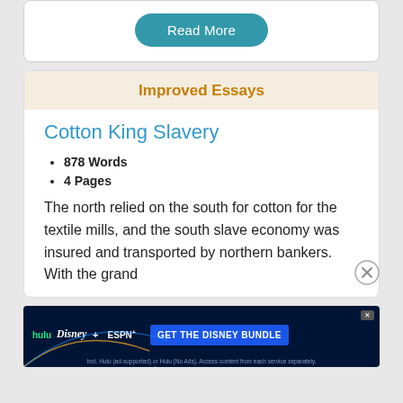Read More
Improved Essays
Cotton King Slavery
878 Words
4 Pages
The north relied on the south for cotton for the textile mills, and the south slave economy was insured and transported by northern bankers. With the grand
[Figure (screenshot): Disney Bundle advertisement banner showing Hulu, Disney+, and ESPN+ logos with 'GET THE DISNEY BUNDLE' call to action button. Subtext: Incl. Hulu (ad-supported) or Hulu (No Ads). Access content from each service separately. ©2021 Disney and its related entities.]